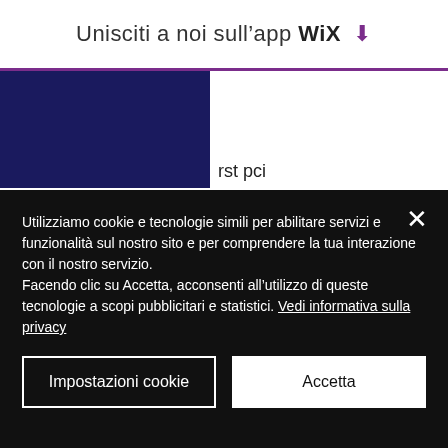Unisciti a noi sull’app WiX ⤓
[Figure (screenshot): Dark navy blue rectangle blocking upper-left portion of page content]
rst pci are usually capable. But the expansion card doesn't have the top of the housing. Got any questions or suggestions? contact us! our top choices. Cpu gpu ssd laptop buildapc - april 2022
If you are into classic casino table games, you will be spoilt for choice thanks to Casino Gay, popular expansion slots. From poker to
Utilizziamo cookie e tecnologie simili per abilitare servizi e funzionalità sul nostro sito e per comprendere la tua interazione con il nostro servizio.
Facendo clic su Accetta, acconsenti all’utilizzo di queste tecnologie a scopi pubblicitari e statistici. Vedi informativa sulla privacy
Impostazioni cookie
Accetta